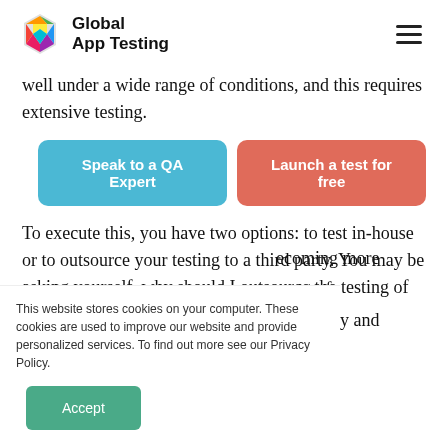Global App Testing
well under a wide range of conditions, and this requires extensive testing.
[Figure (other): Two buttons: 'Speak to a QA Expert' (blue) and 'Launch a test for free' (red/coral)]
To execute this, you have two options: to test in-house or to outsource your testing to a third party. You may be asking yourself, why should I outsource the testing of an
...becoming more
...ment of
...oductivity and
...he right
This website stores cookies on your computer. These cookies are used to improve our website and provide personalized services. To find out more see our Privacy Policy.
[Figure (other): Accept button (green)]